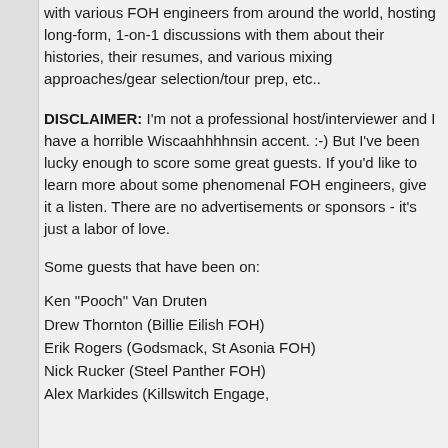with various FOH engineers from around the world, hosting long-form, 1-on-1 discussions with them about their histories, their resumes, and various mixing approaches/gear selection/tour prep, etc..
DISCLAIMER: I'm not a professional host/interviewer and I have a horrible Wiscaahhhhnsin accent. :-) But I've been lucky enough to score some great guests. If you'd like to learn more about some phenomenal FOH engineers, give it a listen. There are no advertisements or sponsors - it's just a labor of love.
Some guests that have been on:
Ken "Pooch" Van Druten
Drew Thornton (Billie Eilish FOH)
Erik Rogers (Godsmack, St Asonia FOH)
Nick Rucker (Steel Panther FOH)
Alex Markides (Killswitch Engage,